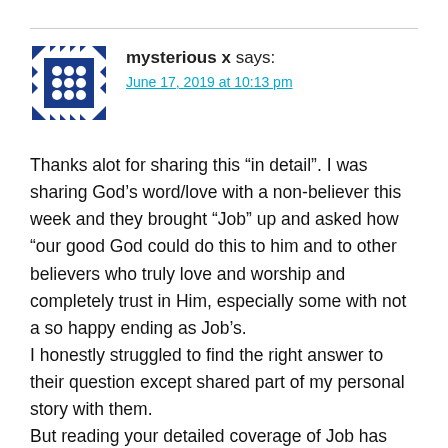[Figure (illustration): Blue decorative avatar icon with diamond/dot pattern on white background]
mysterious x says:
June 17, 2019 at 10:13 pm
Thanks alot for sharing this “in detail”. I was sharing God’s word/love with a non-believer this week and they brought “Job” up and asked how “our good God could do this to him and to other believers who truly love and worship and completely trust in Him, especially some with not a so happy ending as Job’s.
I honestly struggled to find the right answer to their question except shared part of my personal story with them.
But reading your detailed coverage of Job has given me ALOT of insight and truths to encourage this non-